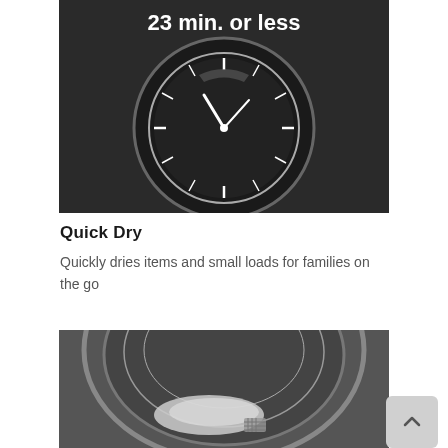[Figure (photo): Close-up of a dark circular appliance control dial/clock face showing '23 min. or less' text at top, with clock hands and tick marks on a dark background, metallic silver bezel]
Quick Dry
Quickly dries items and small loads for families on the go
[Figure (photo): Close-up interior view of a dryer drum, showing the circular metallic drum interior with a white item inside, black and white grayscale image]